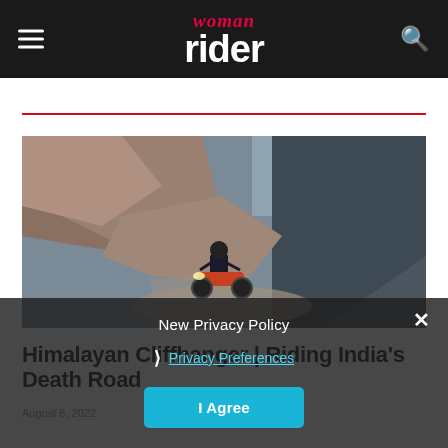woman rider
Features
[Figure (photo): Motorcyclist riding on a narrow, rocky cliff-edge mountain road in the Himalayas, surrounded by steep rocky terrain.]
Himalayan Cliffhanger | Riding India's Death Road
August 8, 2022
New Privacy Policy
Privacy Preferences
I Agree